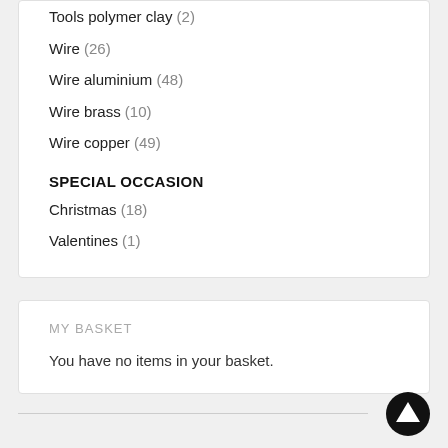Tools polymer clay (2)
Wire (26)
Wire aluminium (48)
Wire brass (10)
Wire copper (49)
SPECIAL OCCASION
Christmas (18)
Valentines (1)
MY BASKET
You have no items in your basket.